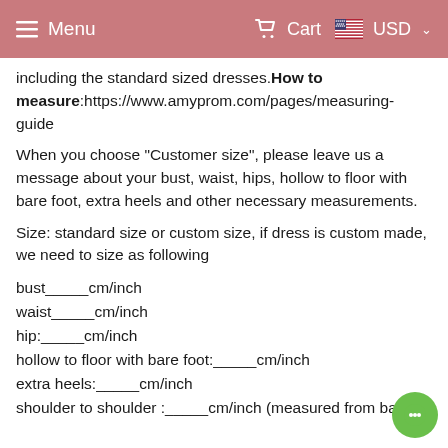Menu   Cart   USD
including the standard sized dresses. How to measure: https://www.amyprom.com/pages/measuring-guide
When you choose "Customer size", please leave us a message about your bust, waist, hips, hollow to floor with bare foot, extra heels and other necessary measurements.
Size: standard size or custom size, if dress is custom made, we need to size as following
bust_____cm/inch
waist_____cm/inch
hip:_____cm/inch
hollow to floor with bare foot:_____cm/inch
extra heels:_____cm/inch
shoulder to shoulder :_____cm/inch (measured from back of